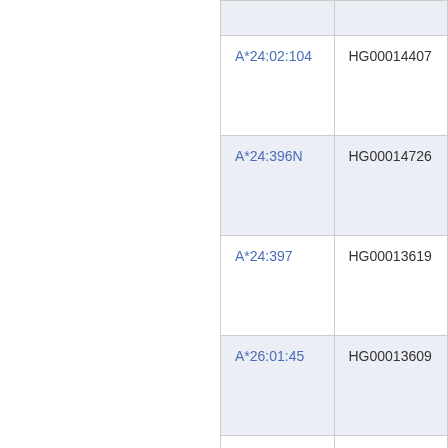| Allele | Sample |
| --- | --- |
| A*24:02:104 | HG00014407 |
| A*24:396N | HG00014726 |
| A*24:397 | HG00013619 |
| A*26:01:45 | HG00013609 |
| A*29:112N | HG00015341 |